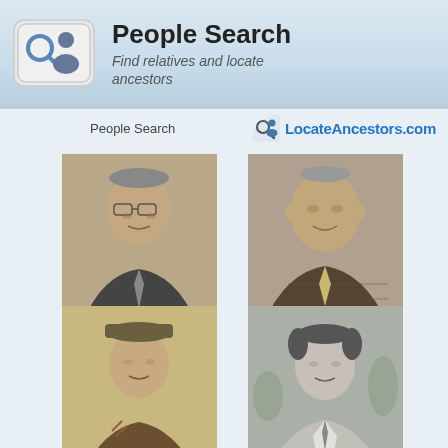[Figure (logo): People Search header with keyboard/magnifier icon, title 'People Search', subtitle 'Find relatives and locate ancestors', and LocateAncestors.com logo]
People Search
[Figure (photo): Portrait photo of ARLIE PAIGE, older man in suit with glasses, sepia tone]
ARLIE PAIGE
04/25/2022
[Figure (photo): Portrait photo of JOSEPH F MOORE, older man in checkered jacket, sepia tone]
JOSEPH F MOORE
04/20/2022
[Figure (photo): Portrait photo of JAMES H SULLINS, young man in military uniform, sepia tone]
JAMES H SULLINS
04/05/2022
[Figure (photo): Portrait photo of JOHN A RUOCCO, man in light suit, black and white]
JOHN A RUOCCO
03/28/2022